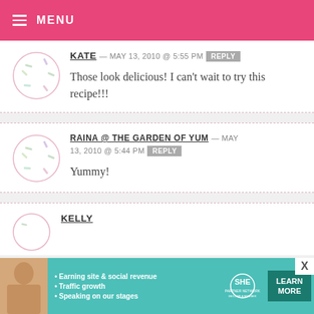MENU
KATE — MAY 13, 2010 @ 5:55 PM REPLY
Those look delicious! I can't wait to try this recipe!!!
RAINA @ THE GARDEN OF YUM — MAY 13, 2010 @ 5:44 PM REPLY
Yummy!
KELLY
[Figure (infographic): SHE Partner Network advertisement banner with woman photo, bullet points about earning site & social revenue, traffic growth, speaking on stages, SHE logo, and Learn More button]